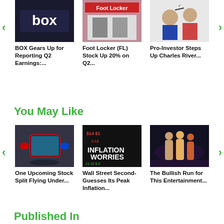[Figure (photo): BOX company sign on storefront]
[Figure (photo): Foot Locker store exterior]
[Figure (photo): People cheering at office meeting]
BOX Gears Up for Reporting Q2 Earnings:...
Foot Locker (FL) Stock Up 20% on Q2...
Pro-Investor Steps Up Charles River...
You May Like
[Figure (photo): Person holding Nintendo Switch gaming device]
[Figure (photo): Sign reading INFLATION WORRIES on stock ticker background]
[Figure (photo): Wrestlers/fighters in ring under lights]
One Upcoming Stock Split Flying Under...
Wall Street Second-Guesses Its Peak Inflation...
The Bullish Run for This Entertainment...
Published In